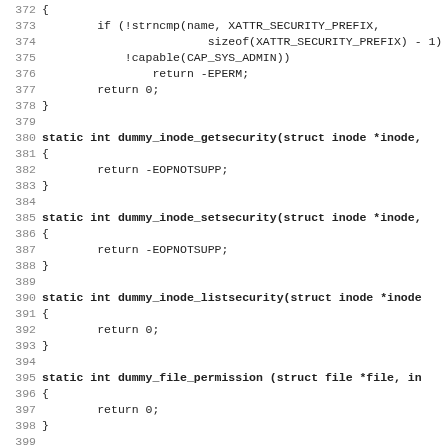Source code listing, lines 372–403, showing C functions: dummy_inode_setsecurity, dummy_inode_getsecurity, dummy_inode_setsecurity, dummy_inode_listsecurity, dummy_file_permission, dummy_file_alloc_security
372 {
373     if (!strncmp(name, XATTR_SECURITY_PREFIX,
374                 sizeof(XATTR_SECURITY_PREFIX) - 1)
375         !capable(CAP_SYS_ADMIN))
376             return -EPERM;
377         return 0;
378 }
379
380 static int dummy_inode_getsecurity(struct inode *inode,
381 {
382         return -EOPNOTSUPP;
383 }
384
385 static int dummy_inode_setsecurity(struct inode *inode,
386 {
387         return -EOPNOTSUPP;
388 }
389
390 static int dummy_inode_listsecurity(struct inode *inode
391 {
392         return 0;
393 }
394
395 static int dummy_file_permission (struct file *file, in
396 {
397         return 0;
398 }
399
400 static int dummy_file_alloc_security (struct file *file
401 {
402         return 0;
403 }